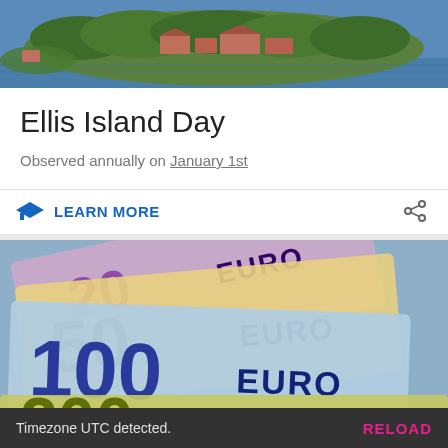[Figure (photo): Aerial view of Ellis Island surrounded by water with green trees and red-roofed buildings]
Ellis Island Day
Observed annually on January 1st
LEARN MORE
[Figure (photo): Close-up photo of Euro banknotes: 20 Euro, 50 Euro, 100 Euro, and 200 Euro bills fanned out]
Timezone UTC detected.  RELOAD